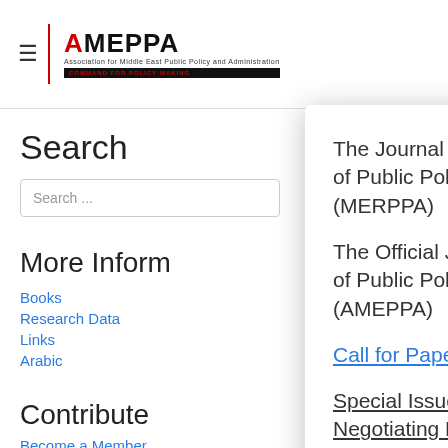AMEPPA
Search
More Inform
Books
Research Data
Links
Arabic
Contribute
Become a Member
The Journal of Middle East Review of Public Policy and Administration (MERPPA)
The Official Journal of the Association of Public Policy and Administration (AMEPPA)
Call for Papers
Special Issue: Understanding History, Negotiating Policy and Administration, and Moving Forward
Submit your Paper by March 30th, 2022